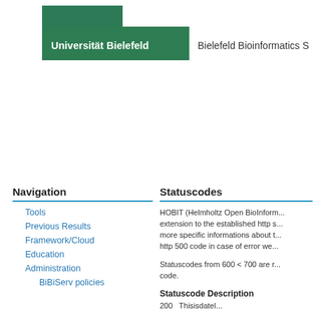[Figure (logo): Universität Bielefeld green stepped logo with white text and 'Bielefeld Bioinformatics S' text to the right]
Navigation
Tools
Previous Results
Framework/Cloud
Education
Administration
BiBiServ policies
Statuscodes
HOBIT (Helmholtz Open BioInform... extension to the established http s... more specific informations about t... http 500 code in case of error we...
Statuscodes from 600 < 700 are r... code.
Statuscode Description